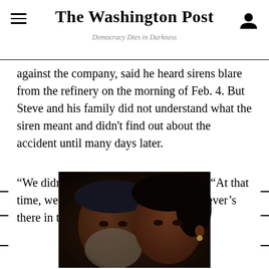The Washington Post
Democracy Dies in Darkness
against the company, said he heard sirens blare from the refinery on the morning of Feb. 4. But Steve and his family did not understand what the siren meant and didn't find out about the accident until many days later.
“We didn’t pay it no attention,” he said. “At that time, we were eating and drinking whatever’s there in the water.”
[Figure (photo): Close-up portrait of two people, a man with a gray beard and a woman, leaning together]